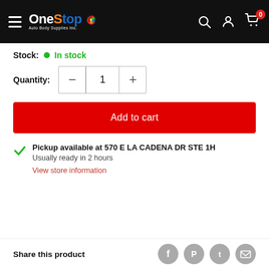OneStop Auto Body Supplies Inc. navigation bar with logo, search, account, and cart icons
Stock: In stock
Quantity: 1
Add to cart
Pickup available at 570 E LA CADENA DR STE 1H
Usually ready in 2 hours
View store information
Share this product